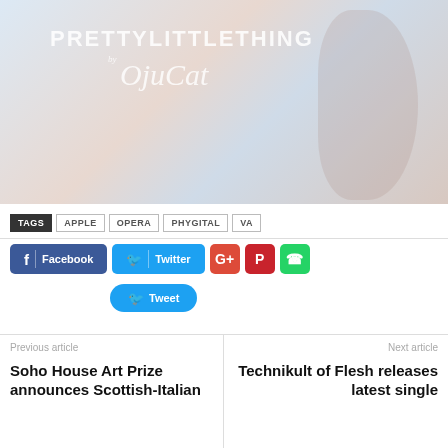[Figure (photo): Promotional banner for PrettyLittleThing by OjuCat featuring script logo text and a fashion model figure in light pink/blue tones]
TAGS  APPLE  OPERA  PHYGITAL  VA
[Figure (infographic): Social sharing buttons: Facebook, Twitter, Google+, Pinterest, WhatsApp, and a Tweet button]
Previous article
Soho House Art Prize announces Scottish-Italian
Next article
Technikult of Flesh releases latest single